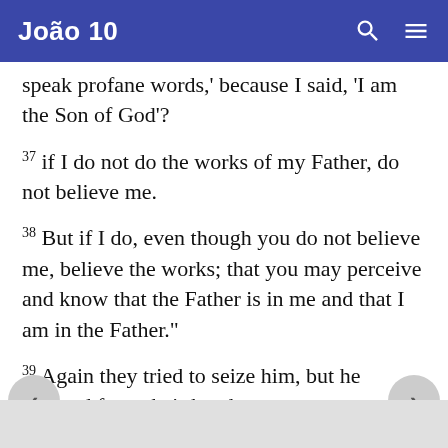João 10
speak profane words,' because I said, 'I am the Son of God'?
37 if I do not do the works of my Father, do not believe me.
38 But if I do, even though you do not believe me, believe the works; that you may perceive and know that the Father is in me and that I am in the Father."
39 Again they tried to seize him, but he escaped from their hands